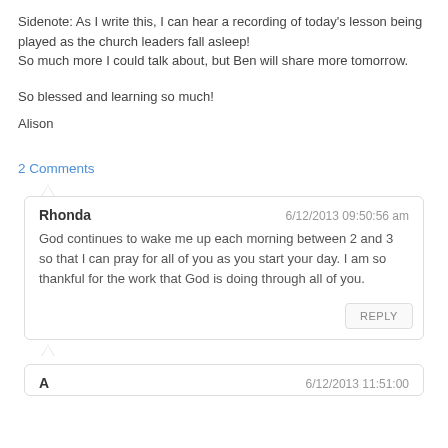Sidenote: As I write this, I can hear a recording of today's lesson being played as the church leaders fall asleep!
So much more I could talk about, but Ben will share more tomorrow.
So blessed and learning so much!
Alison
2 Comments
Rhonda  6/12/2013 09:50:56 am
God continues to wake me up each morning between 2 and 3 so that I can pray for all of you as you start your day. I am so thankful for the work that God is doing through all of you.
REPLY
6/12/2013 11:51:00